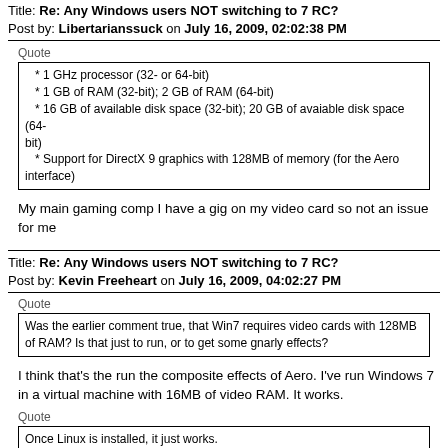Title: Re: Any Windows users NOT switching to 7 RC?
Post by: Libertarianssuck on July 16, 2009, 02:02:38 PM
* 1 GHz processor (32- or 64-bit)
* 1 GB of RAM (32-bit); 2 GB of RAM (64-bit)
* 16 GB of available disk space (32-bit); 20 GB of avaiable disk space (64-bit)
* Support for DirectX 9 graphics with 128MB of memory (for the Aero interface)
My main gaming comp I have a gig on my video card so not an issue for me
Title: Re: Any Windows users NOT switching to 7 RC?
Post by: Kevin Freeheart on July 16, 2009, 04:02:27 PM
Was the earlier comment true, that Win7 requires video cards with 128MB of RAM? Is that just to run, or to get some gnarly effects?
I think that's the run the composite effects of Aero. I've run Windows 7 in a virtual machine with 16MB of video RAM. It works.
Once Linux is installed, it just works.
I'm a Linux fanboy. When this is true, it's true. When this is wrong, it's way... the fuck.. wrong.